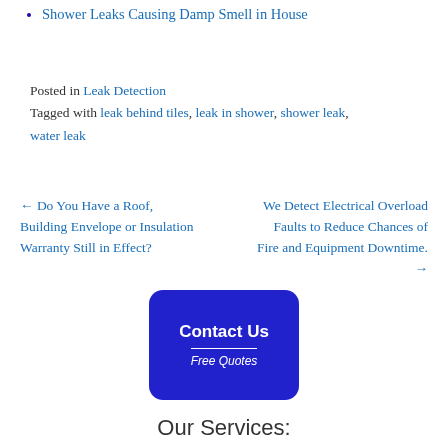Shower Leaks Causing Damp Smell in House
Posted in Leak Detection
Tagged with leak behind tiles, leak in shower, shower leak, water leak
← Do You Have a Roof, Building Envelope or Insulation Warranty Still in Effect?
We Detect Electrical Overload Faults to Reduce Chances of Fire and Equipment Downtime. →
[Figure (other): Blue rounded rectangle button with text 'Contact Us' and 'Free Quotes' in white on dark blue background]
Our Services:
---------------
Our #1 Requested Inspection Type